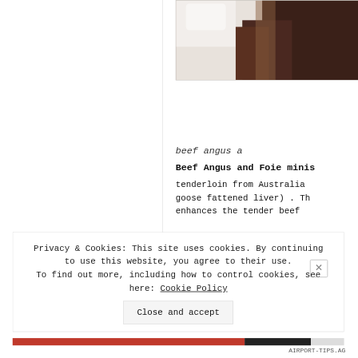[Figure (photo): Close-up photo of beef meat, dark brown with light background, partially cropped at top right of page]
beef angus a
Beef Angus and Foie minis tenderloin from Australia goose fattened liver) . Th enhances the tender beef
Privacy & Cookies: This site uses cookies. By continuing to use this website, you agree to their use. To find out more, including how to control cookies, see here: Cookie Policy
Close and accept